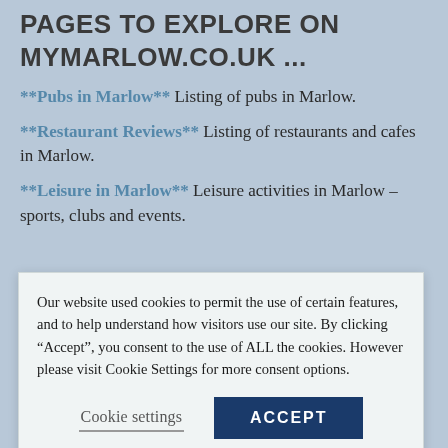PAGES TO EXPLORE ON MYMARLOW.CO.UK ...
**Pubs in Marlow** Listing of pubs in Marlow.
**Restaurant Reviews** Listing of restaurants and cafes in Marlow.
**Leisure in Marlow** Leisure activities in Marlow – sports, clubs and events.
Our website used cookies to permit the use of certain features, and to help understand how visitors use our site. By clicking “Accept”, you consent to the use of ALL the cookies. However please visit Cookie Settings for more consent options.
Cookie settings   ACCEPT
Keep in Touch